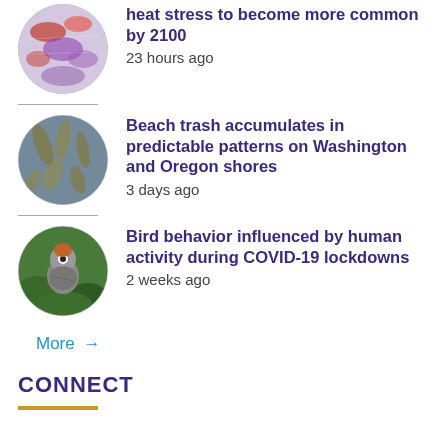[Figure (photo): Circular thumbnail of a climate/heat stress map with red and purple coloring]
heat stress to become more common by 2100
23 hours ago
[Figure (photo): Circular thumbnail of beach trash/seaweed on a blue-grey surface]
Beach trash accumulates in predictable patterns on Washington and Oregon shores
3 days ago
[Figure (photo): Circular thumbnail of a small bird (possibly a sparrow) in green foliage]
Bird behavior influenced by human activity during COVID-19 lockdowns
2 weeks ago
More →
CONNECT